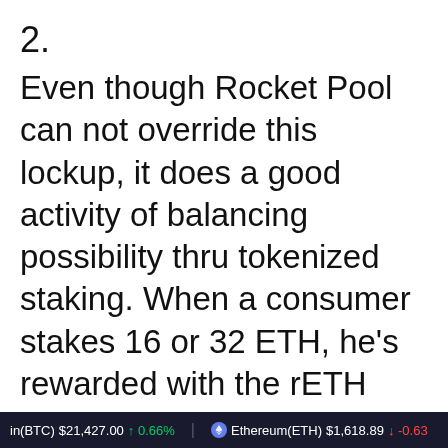2.
Even though Rocket Pool can not override this lockup, it does a good activity of balancing possibility thru tokenized staking. When a consumer stakes 16 or 32 ETH, he’s rewarded with the rETH token which represents two issues: stake and yield. Similar to another ERC-20 token, stakeholders can make the most
in(BTC) $21,427.00 ↑ 0.66%   Ethereum(ETH) $1,618.89 ↓ -0.63